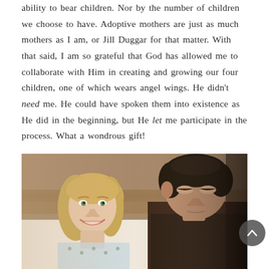ability to bear children. Nor by the number of children we choose to have. Adoptive mothers are just as much mothers as I am, or Jill Duggar for that matter. With that said, I am so grateful that God has allowed me to collaborate with Him in creating and growing our four children, one of which wears angel wings. He didn't need me. He could have spoken them into existence as He did in the beginning, but He let me participate in the process. What a wondrous gift!
[Figure (photo): A woman with blonde hair smiling while lying in a hospital bed, and a dark-haired man leaning over looking down, possibly at a newborn. The scene appears to be a maternity/hospital setting.]